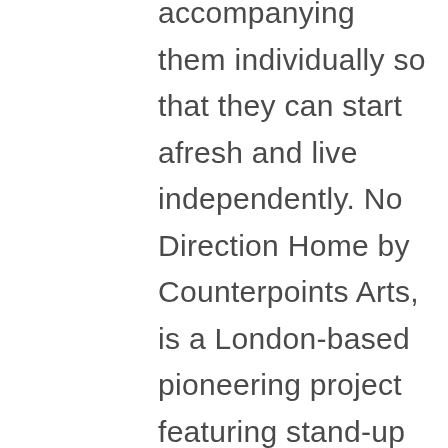accompanying them individually so that they can start afresh and live independently. No Direction Home by Counterpoints Arts, is a London-based pioneering project featuring stand-up comedians from refugee and migrant backgrounds. The initiative is led by Tom Green and mentored by award-winning comedian Tom Parry. Border Line Offensive, is a platform for artistic research and art-based societal development, European and Middle Eastern artists explore issues of migration, sociological contact zones, intercultural conflict and dialogue, collective identity-building, and